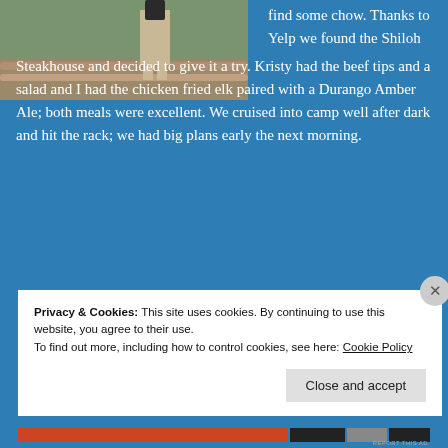[Figure (photo): Outdoor photo showing a person in khaki pants standing near a wooden fence railing, with brown soil and greenery in the background.]
find some chow. Thanks to Yelp we found the Shiloh Steakhouse and decided to give it a try. Kristy had the beef tips and a salad and I had the chicken fried elk paired with a Durango Amber Ale; both meals were excellent. We cruised into camp well after dark and hit the rack; we had big plans early the next morning.
[Figure (other): Advertisement banner with red and grey colors.]
Privacy & Cookies: This site uses cookies. By continuing to use this website, you agree to their use.
To find out more, including how to control cookies, see here: Cookie Policy
Close and accept